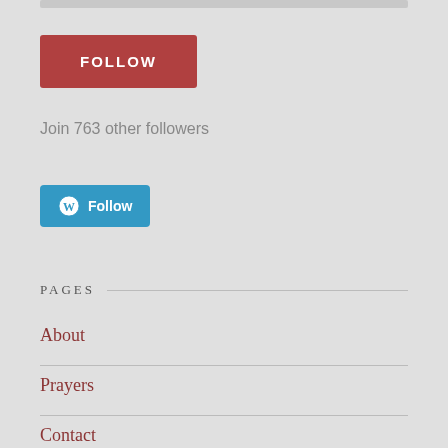[Figure (other): Top grey bar element]
[Figure (other): Red FOLLOW button]
Join 763 other followers
[Figure (other): WordPress Follow button (blue with WP logo)]
PAGES
About
Prayers
Contact